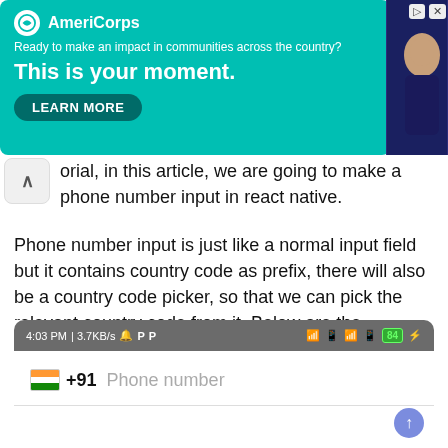[Figure (screenshot): AmeriCorps advertisement banner with teal background, logo, tagline 'Ready to make an impact in communities across the country?', bold text 'This is your moment.', and a LEARN MORE button. Person visible on right side.]
orial, in this article, we are going to make a phone number input in react native.
Phone number input is just like a normal input field but it contains country code as prefix, there will also be a country code picker, so that we can pick the relevant country code from it. Below are the previews.
[Figure (screenshot): Android phone screenshot showing a status bar with time 4:03 PM, 3.7KB/s, and various status icons, and below it a phone number input field with Indian flag emoji, +91 country code, and a 'Phone number' placeholder text.]